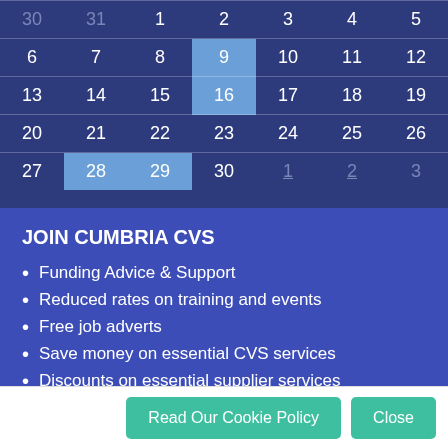| Sun | Mon | Tue | Wed | Thu | Fri | Sat |
| --- | --- | --- | --- | --- | --- | --- |
| 30 | 31 | 1 | 2 | 3 | 4 | 5 |
| 6 | 7 | 8 | 9 | 10 | 11 | 12 |
| 13 | 14 | 15 | 16 | 17 | 18 | 19 |
| 20 | 21 | 22 | 23 | 24 | 25 | 26 |
| 27 | 28 | 29 | 30 | 1 | 2 | 3 |
JOIN CUMBRIA CVS
Funding Advice & Support
Reduced rates on training and events
Free job adverts
Save money on essential CVS services
Discounts on essential supplier services
Online members directory
Read Our Cookie Policy | Close